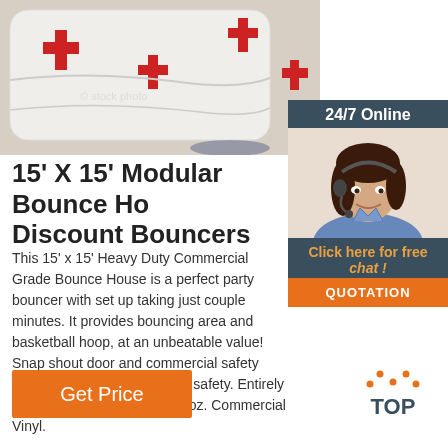[Figure (photo): White bounce house/inflatable with red cross symbols on sides, photographed from ground level]
[Figure (photo): 24/7 Online chat widget with a female customer service agent wearing a headset and smiling, with orange quotation button]
15' X 15' Modular Bounce House Discount Bouncers
This 15' x 15' Heavy Duty Commercial Grade Bounce House is a perfect party bouncer with set up taking just couple minutes. It provides bouncing area and basketball hoop, at an unbeatable value! Snap shout door and commercial safety netting keep children playing safety. Entirely Manufactured Lead Free 18 oz. Commercial Vinyl.
[Figure (other): Get Price orange button]
[Figure (logo): TOP logo with orange dotted arch above the word TOP]